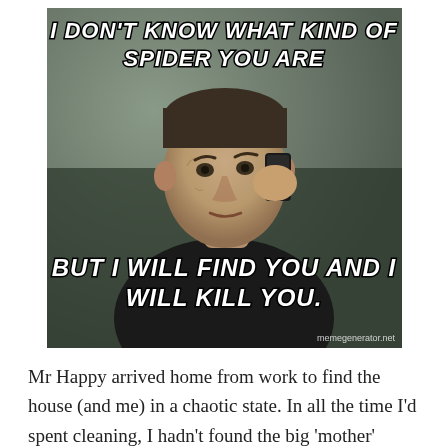[Figure (photo): Meme image of a man (resembling Liam Neeson) holding a phone to his ear with a serious expression, set against a dark background. Top text: 'I DON'T KNOW WHAT KIND OF SPIDER YOU ARE'. Bottom text: 'BUT I WILL FIND YOU AND I WILL KILL YOU.' Watermark: 'memegenerator.net']
Mr Happy arrived home from work to find the house (and me) in a chaotic state. In all the time I'd spent cleaning, I hadn't found the big 'mother' spider. And if I didn't find her she would just have